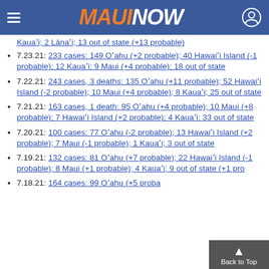MAUI NOW
Kaua'i; 2 Lāna'i; 13 out of state (+13 probable)
7.23.21: 233 cases: 149 O'ahu (+2 probable); 40 Hawai'i Island (-1 probable); 12 Kaua'i; 9 Maui (+4 probable); 18 out of state
7.22.21: 243 cases, 3 deaths: 135 O'ahu (+11 probable); 52 Hawai'i Island (-2 probable); 10 Maui (+4 probable); 8 Kaua'i; 25 out of state
7.21.21: 163 cases, 1 death: 95 O'ahu (+4 probable); 10 Maui (+8 probable); 7 Hawai'i Island (+2 probable); 4 Kaua'i; 33 out of state
7.20.21: 100 cases: 77 O'ahu (-2 probable); 13 Hawai'i Island (+2 probable); 7 Maui (-1 probable); 1 Kaua'i; 3 out of state
7.19.21: 132 cases: 81 O'ahu (+7 probable); 22 Hawai'i Island (-1 probable); 8 Maui (+1 probable); 4 Kaua'i; 9 out of state (+1 pro...
7.18.21: 164 cases: 99 O'ahu (+5 proba...